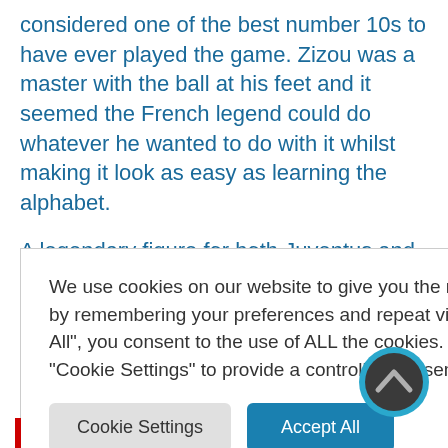considered one of the best number 10s to have ever played the game. Zizou was a master with the ball at his feet and it seemed the French legend could do whatever he wanted to do with it whilst making it look as easy as learning the alphabet.
A legendary figure for both Juventus and Real Madrid, he perhaps scored one of the all-time memorable goals
[Figure (screenshot): Cookie consent popup overlay with text: 'We use cookies on our website to give you the most relevant experience by remembering your preferences and repeat visits. By clicking "Accept All", you consent to the use of ALL the cookies. However, you may visit "Cookie Settings" to provide a controlled consent.' with two buttons: 'Cookie Settings' and 'Accept All']
[Figure (other): Circular scroll-to-top button with dark grey background and light blue border, containing an upward chevron arrow icon]